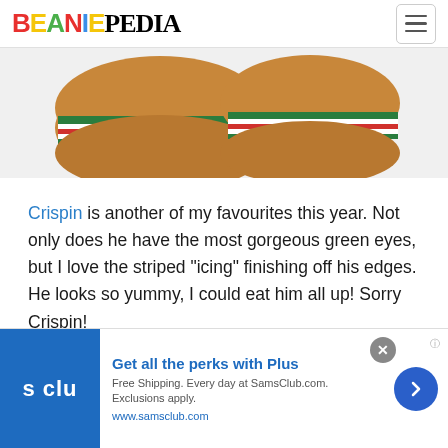BEANIEPEDIA
[Figure (photo): Partial view of a Beanie Boo plush toy resembling a cookie/sandwich cookie with green and red striped icing detail, golden/tan colored plush.]
Crispin is another of my favourites this year. Not only does he have the most gorgeous green eyes, but I love the striped “icing” finishing off his edges. He looks so yummy, I could eat him all up! Sorry Crispin!
Noel
[Figure (photo): Partial view of another Beanie Boo plush toy with a gold glittery bow tie, peeking in from bottom.]
[Figure (screenshot): Advertisement banner: Sam's Club with logo showing 's clu' text on blue background. Text: 'Get all the perks with Plus. Free Shipping. Every day at SamsClub.com. Exclusions apply. www.samsclub.com']